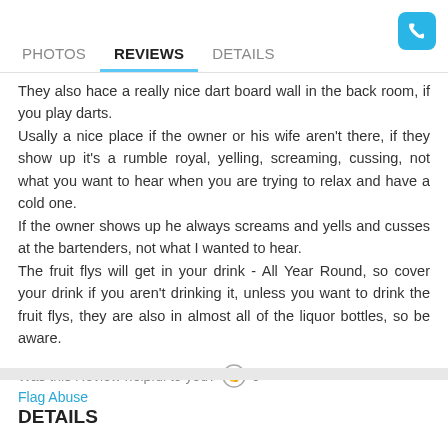PHOTOS  REVIEWS  DETAILS
They also hace a really nice dart board wall in the back room, if you play darts.
Usally a nice place if the owner or his wife aren't there, if they show up it's a rumble royal, yelling, screaming, cussing, not what you want to hear when you are trying to relax and have a cold one.
If the owner shows up he always screams and yells and cusses at the bartenders, not what I wanted to hear.
The fruit flys will get in your drink - All Year Round, so cover your drink if you aren't drinking it, unless you want to drink the fruit flys, they are also in almost all of the liquor bottles, so be aware.
Was this Review helpful to you?  0
Flag Abuse
DETAILS